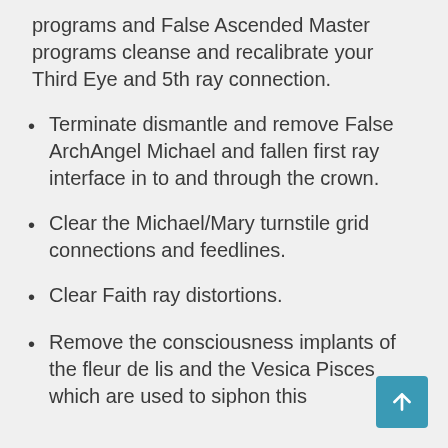programs and False Ascended Master programs cleanse and recalibrate your Third Eye and 5th ray connection.
Terminate dismantle and remove False ArchAngel Michael and fallen first ray interface in to and through the crown.
Clear the Michael/Mary turnstile grid connections and feedlines.
Clear Faith ray distortions.
Remove the consciousness implants of the fleur de lis and the Vesica Pisces which are used to siphon this